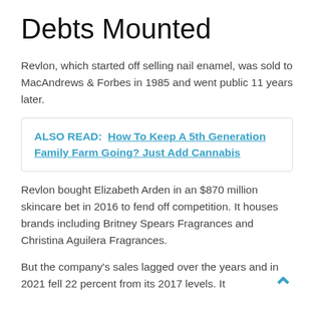Debts Mounted
Revlon, which started off selling nail enamel, was sold to MacAndrews & Forbes in 1985 and went public 11 years later.
ALSO READ:  How To Keep A 5th Generation Family Farm Going? Just Add Cannabis
Revlon bought Elizabeth Arden in an $870 million skincare bet in 2016 to fend off competition. It houses brands including Britney Spears Fragrances and Christina Aguilera Fragrances.
But the company's sales lagged over the years and in 2021 fell 22 percent from its 2017 levels. It also racked up billions to repay creditors.